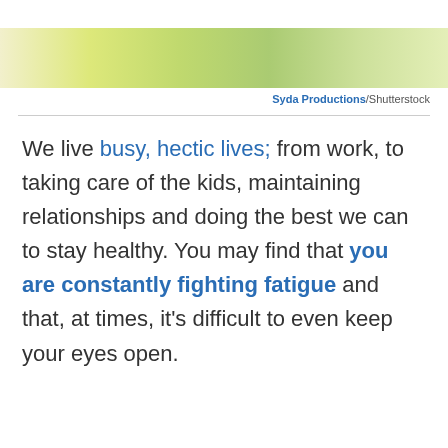[Figure (photo): A decorative color gradient strip in yellow-green tones, cropped from a larger photo.]
Syda Productions/Shutterstock
We live busy, hectic lives; from work, to taking care of the kids, maintaining relationships and doing the best we can to stay healthy. You may find that you are constantly fighting fatigue and that, at times, it's difficult to even keep your eyes open.